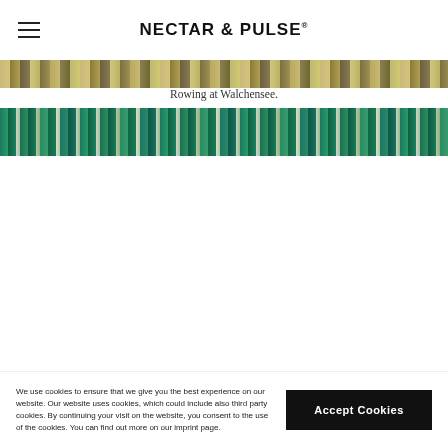NECTAR & PULSE
[Figure (photo): Narrow horizontal strip of a rocky/mossy outdoor scene, appears to be the top of a lake or nature photo]
Rowing at Walchensee.
[Figure (photo): Horizontal strip showing green turbulent water surface with white foam/sparkles, appears to be a lake (Walchensee)]
We use cookies to ensure that we give you the best experience on our website. Our website uses cookies, which could include also third party cookies. By continuing your visit on the website, you consent to the use of the cookies. You can find out more on our imprint page.